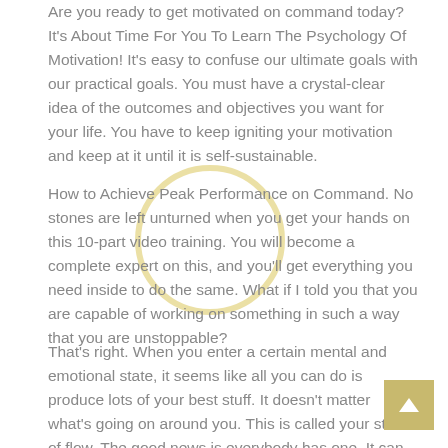Are you ready to get motivated on command today? It's About Time For You To Learn The Psychology Of Motivation! It's easy to confuse our ultimate goals with our practical goals. You must have a crystal-clear idea of the outcomes and objectives you want for your life. You have to keep igniting your motivation and keep at it until it is self-sustainable.
How to Achieve Peak Performance on Command. No stones are left unturned when you get your hands on this 10-part video training. You will become a complete expert on this, and you'll get everything you need inside to do the same. What if I told you that you are capable of working on something in such a way that you are unstoppable?
That's right. When you enter a certain mental and emotional state, it seems like all you can do is produce lots of your best stuff. It doesn't matter what's going on around you. This is called your state of flow. The good news is everybody has one. It can take different